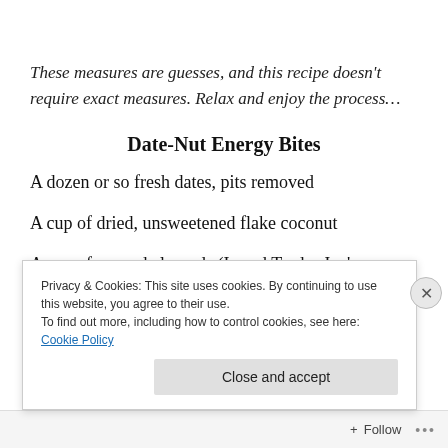These measures are guesses, and this recipe doesn't require exact measures. Relax and enjoy the process…
Date-Nut Energy Bites
A dozen or so fresh dates, pits removed
A cup of dried, unsweetened flake coconut
A cup of ground almonds (I used Trader Joe's 'almond
Privacy & Cookies: This site uses cookies. By continuing to use this website, you agree to their use.
To find out more, including how to control cookies, see here: Cookie Policy
Close and accept
Follow ...